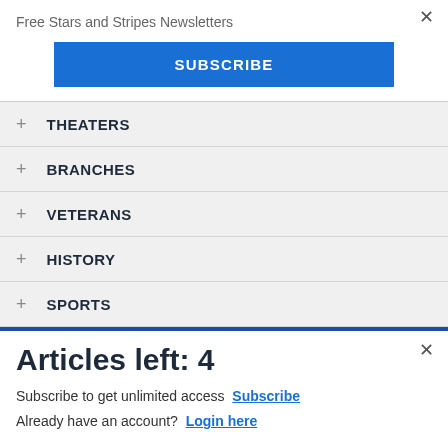Free Stars and Stripes Newsletters
SUBSCRIBE
+ THEATERS
+ BRANCHES
+ VETERANS
+ HISTORY
+ SPORTS
Articles left: 4
Subscribe to get unlimited access  Subscribe
Already have an account?  Login here